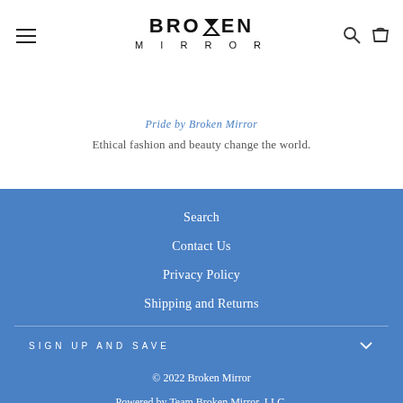BROKEN MIRROR navigation header with hamburger menu, logo, search and cart icons
Ethical fashion and beauty change the world.
Search
Contact Us
Privacy Policy
Shipping and Returns
SIGN UP AND SAVE
© 2022 Broken Mirror
Powered by Team Broken Mirror, LLC.